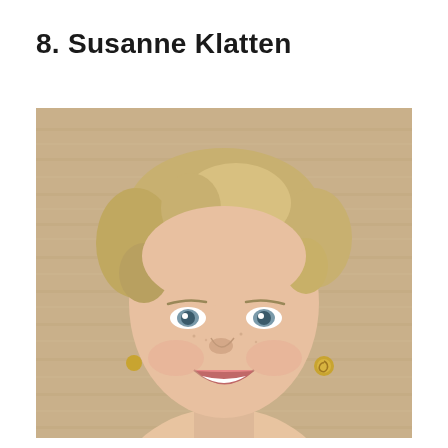8. Susanne Klatten
[Figure (photo): Portrait photograph of Susanne Klatten, a smiling blonde woman with short hair, blue-gray eyes, gold earrings, wearing a teal/blue top, photographed against a beige/tan textured background.]